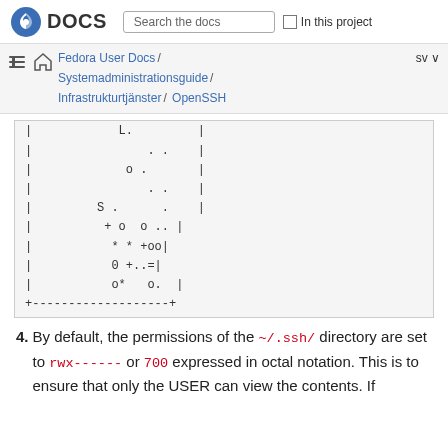Fedora DOCS | Search the docs | In this project
Fedora User Docs / Systemadministrationsguide / Infrastrukturtjänster / OpenSSH | sv
|
|
|
|
|
|
|
|
|
+-------------------+
4. By default, the permissions of the ~/.ssh/ directory are set to rwx------ or 700 expressed in octal notation. This is to ensure that only the USER can view the contents. If